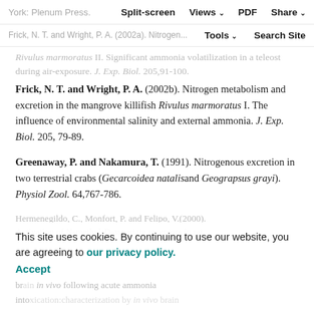Split-screen  Views  PDF  Share
Tools  Search Site
York: Plenum Press.
Frick, N. T. and Wright, P. A. (2002a). Nitrogen metabolism and excretion in the mangrove killifish Rivulus marmoratus II. Significant ammonia volatilization in a teleost during air-exposure. J. Exp. Biol. 205,91-100.
Frick, N. T. and Wright, P. A. (2002b). Nitrogen metabolism and excretion in the mangrove killifish Rivulus marmoratus I. The influence of environmental salinity and external ammonia. J. Exp. Biol. 205, 79-89.
Greenaway, P. and Nakamura, T. (1991). Nitrogenous excretion in two terrestrial crabs (Gecarcoidea natalis and Geograpsus grayi). Physiol Zool. 64,767-786.
Hermenegildo, C., Monfort, P. and Felipo, V.(2000). This site uses cookies. By continuing to use our website, you are agreeing to our privacy policy. Accept
Activation of N-methyl-D-aspartate receptors in rat brain in vivo following acute ammonia intoxication:characterization by in vivo brain